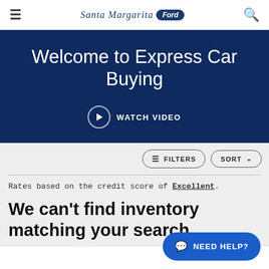Santa Margarita Ford
Welcome to Express Car Buying
WATCH VIDEO
FILTERS  SORT
Rates based on the credit score of Excellent.
We can't find inventory matching your search.
NEED HELP?